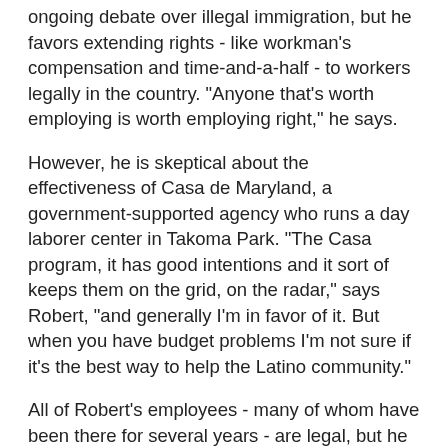ongoing debate over illegal immigration, but he favors extending rights - like workman's compensation and time-and-a-half - to workers legally in the country. "Anyone that's worth employing is worth employing right," he says.
However, he is skeptical about the effectiveness of Casa de Maryland, a government-supported agency who runs a day laborer center in Takoma Park. "The Casa program, it has good intentions and it sort of keeps them on the grid, on the radar," says Robert, "and generally I'm in favor of it. But when you have budget problems I'm not sure if it's the best way to help the Latino community."
All of Robert's employees - many of whom have been there for several years - are legal, but he appreciates the struggle all immigrants went through to get here. "The most ambitious and hardworking of the Latinos are the ones who save six thousand dollars in a place where you can make ten dollars an hour to pay a coyote who can get you across the border just so you can stand outside Home Depot trying to get a job," says Robert. "I got a lot of respect for that kind of character just to begin with . . . and then once you're here send ten percent of your income back home."